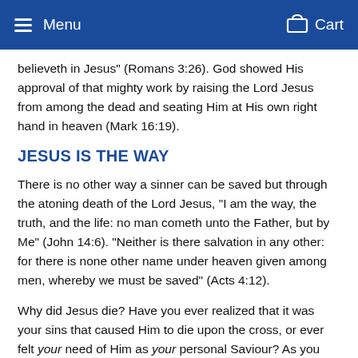Menu   Cart
believeth in Jesus" (Romans 3:26). God showed His approval of that mighty work by raising the Lord Jesus from among the dead and seating Him at His own right hand in heaven (Mark 16:19).
JESUS IS THE WAY
There is no other way a sinner can be saved but through the atoning death of the Lord Jesus, “I am the way, the truth, and the life: no man cometh unto the Father, but by Me” (John 14:6). “Neither is there salvation in any other: for there is none other name under heaven given among men, whereby we must be saved” (Acts 4:12).
Why did Jesus die? Have you ever realized that it was your sins that caused Him to die upon the cross, or ever felt your need of Him as your personal Saviour? As you read this little message, He looks down from heaven upon you, and He